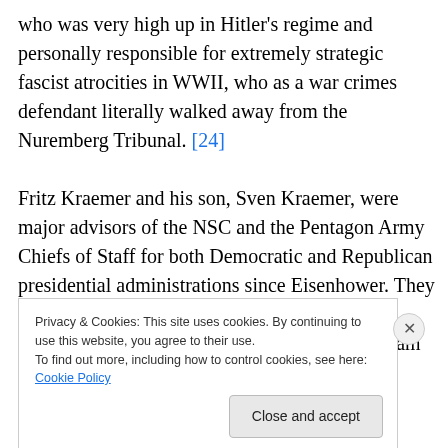who was very high up in Hitler's regime and personally responsible for extremely strategic fascist atrocities in WWII, who as a war crimes defendant literally walked away from the Nuremberg Tribunal. [24]

Fritz Kraemer and his son, Sven Kraemer, were major advisors of the NSC and the Pentagon Army Chiefs of Staff for both Democratic and Republican presidential administrations since Eisenhower. They were also prominent advisors in the Center for Security Policy (CSP), which features the William J. Casey [cut off]
Privacy & Cookies: This site uses cookies. By continuing to use this website, you agree to their use.
To find out more, including how to control cookies, see here: Cookie Policy